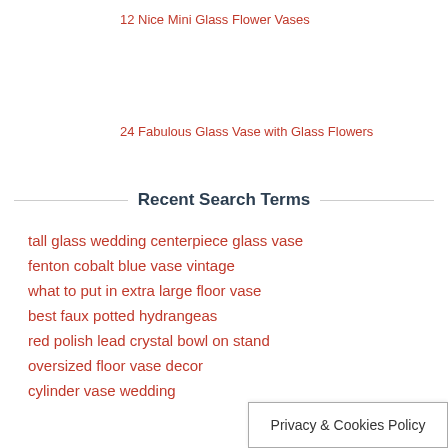12 Nice Mini Glass Flower Vases
24 Fabulous Glass Vase with Glass Flowers
Recent Search Terms
tall glass wedding centerpiece glass vase
fenton cobalt blue vase vintage
what to put in extra large floor vase
best faux potted hydrangeas
red polish lead crystal bowl on stand
oversized floor vase decor
cylinder vase wedding
Privacy & Cookies Policy